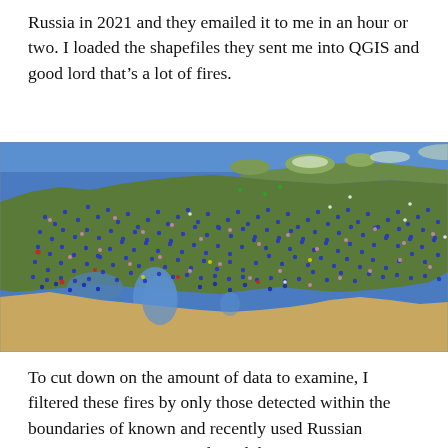Russia in 2021 and they emailed it to me in an hour or two. I loaded the shapefiles they sent me into QGIS and good lord that’s a lot of fires.
[Figure (map): Satellite map of Russia and surrounding regions showing thousands of blue, pink, red, and white dots representing fire detections across the territory in 2021.]
To cut down on the amount of data to examine, I filtered these fires by only those detected within the boundaries of known and recently used Russian training ranges. First, I selected the training ranges mentioned in a map composed by George Barros at the